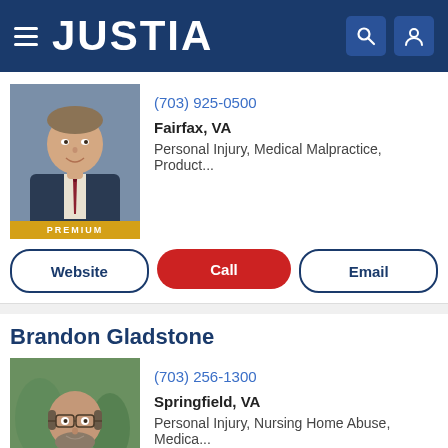JUSTIA
[Figure (photo): Professional headshot of a young male attorney in a dark suit with striped tie, smiling, with PREMIUM badge]
(703) 925-0500
Fairfax, VA
Personal Injury, Medical Malpractice, Product...
Website | Call | Email
Brandon Gladstone
[Figure (photo): Professional photo of a middle-aged balding male attorney with glasses and a beard in a dark suit, outdoors, with PREMIUM badge]
(703) 256-1300
Springfield, VA
Personal Injury, Nursing Home Abuse, Medica...
Website | Call | Email